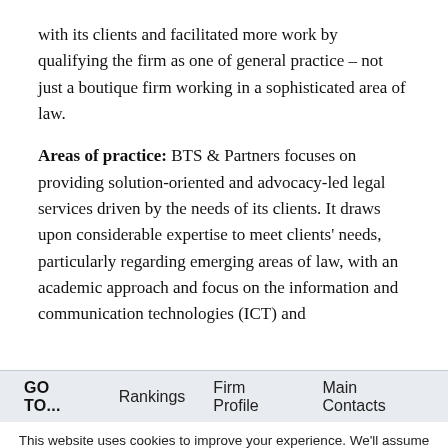with its clients and facilitated more work by qualifying the firm as one of general practice – not just a boutique firm working in a sophisticated area of law.
Areas of practice: BTS & Partners focuses on providing solution-oriented and advocacy-led legal services driven by the needs of its clients. It draws upon considerable expertise to meet clients' needs, particularly regarding emerging areas of law, with an academic approach and focus on the information and communication technologies (ICT) and
GO TO...   Rankings   Firm Profile   Main Contacts
This website uses cookies to improve your experience. We'll assume you're ok with this, but you can opt-out if you wish. Cookie settings
ACCEPT